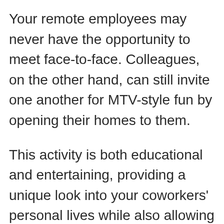Your remote employees may never have the opportunity to meet face-to-face. Colleagues, on the other hand, can still invite one another for MTV-style fun by opening their homes to them.
This activity is both educational and entertaining, providing a unique look into your coworkers' personal lives while also allowing you to get to